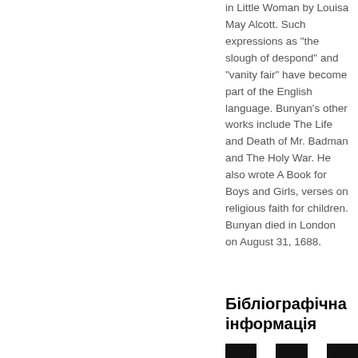in Little Woman by Louisa May Alcott. Such expressions as "the slough of despond" and "vanity fair" have become part of the English language. Bunyan's other works include The Life and Death of Mr. Badman and The Holy War. He also wrote A Book for Boys and Girls, verses on religious faith for children. Bunyan died in London on August 31, 1688.
Бібліографічна інформація